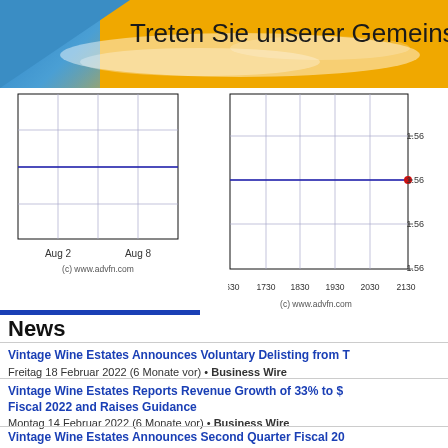[Figure (screenshot): Website banner with blue and gold gradient background, text 'Treten Sie unserer Gemeinsc...' (Join our community)]
[Figure (continuous-plot): Left stock chart showing price over Aug 2 to Aug 8 period, (c) www.advfn.com]
[Figure (continuous-plot): Right stock chart showing price ~1.56 over time range 1630-2130, with red dot at latest price 1.56, (c) www.advfn.com]
News
Vintage Wine Estates Announces Voluntary Delisting from T
Freitag 18 Februar 2022 (6 Monate vor) • Business Wire
Vintage Wine Estates Reports Revenue Growth of 33% to $ Fiscal 2022 and Raises Guidance
Montag 14 Februar 2022 (6 Monate vor) • Business Wire
Vintage Wine Estates Announces Second Quarter Fiscal 20 Webcast
Montag 31 Januar 2022 (7 Monate vor) • Business Wire